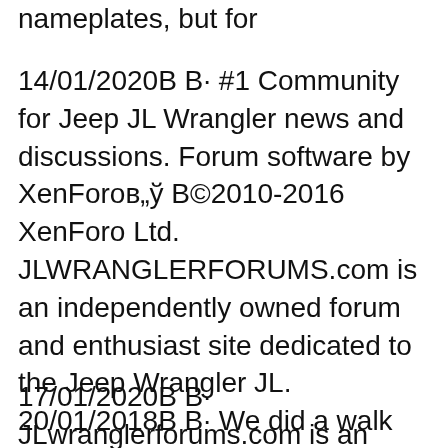nameplates, but for
14/01/2020B B· #1 Community for Jeep JL Wrangler news and discussions. Forum software by XenForoв„ў В©2010-2016 XenForo Ltd. JLWRANGLERFORUMS.com is an independently owned forum and enthusiast site dedicated to the Jeep Wrangler JL. 20/01/2018B B· We did a walk around on the all new 2018 Jeep Wrangler Sahara 4 DOOR Unlimited in Bright White. Please like and share! CLICK HERE TO SUBSCRIBE! https://www.y...
17/01/2020B B· JLwranglerforums.com is an independently owned forum and